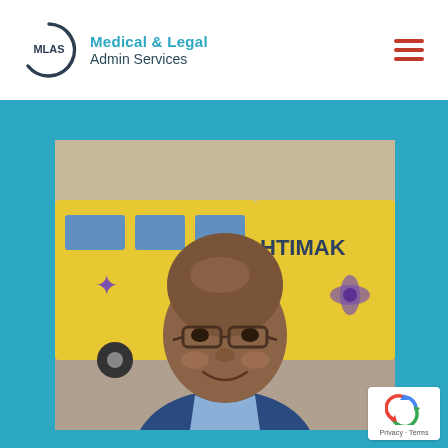[Figure (logo): MLAS Medical & Legal Admin Services logo with circle icon and text]
[Figure (photo): Portrait photo of a bald South Asian man wearing glasses and a suit, standing in front of yellow buses with partial text 'HTIMAK' visible]
[Figure (other): reCAPTCHA badge with Privacy and Terms text]